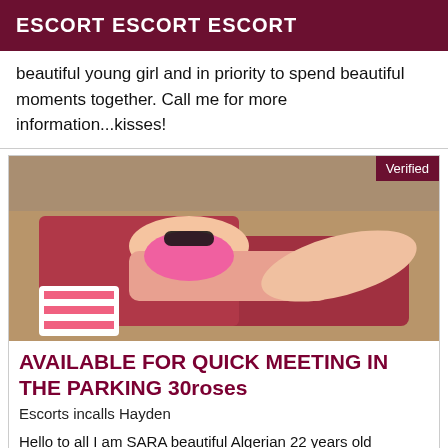ESCORT ESCORT ESCORT
beautiful young girl and in priority to spend beautiful moments together. Call me for more information...kisses!
[Figure (photo): Photo of a woman in a pink bikini lying on a red lounge chair outdoors. A 'Verified' badge is shown in the top right corner.]
AVAILABLE FOR QUICK MEETING IN THE PARKING 30roses
Escorts incalls Hayden
Hello to all I am SARA beautiful Algerian 22 years old available for new and unforgettable encounters. Big